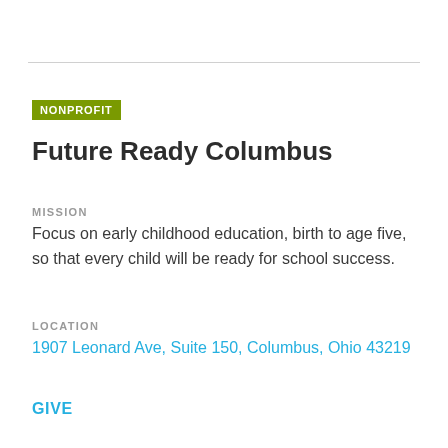NONPROFIT
Future Ready Columbus
MISSION
Focus on early childhood education, birth to age five, so that every child will be ready for school success.
LOCATION
1907 Leonard Ave, Suite 150, Columbus, Ohio 43219
GIVE